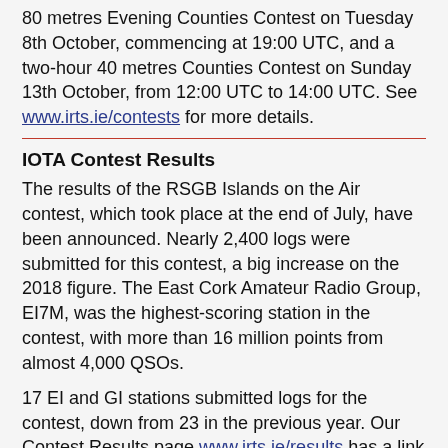80 metres Evening Counties Contest on Tuesday 8th October, commencing at 19:00 UTC, and a two-hour 40 metres Counties Contest on Sunday 13th October, from 12:00 UTC to 14:00 UTC. See www.irts.ie/contests for more details.
IOTA Contest Results
The results of the RSGB Islands on the Air contest, which took place at the end of July, have been announced. Nearly 2,400 logs were submitted for this contest, a big increase on the 2018 figure. The East Cork Amateur Radio Group, EI7M, was the highest-scoring station in the contest, with more than 16 million points from almost 4,000 QSOs.
17 EI and GI stations submitted logs for the contest, down from 23 in the previous year. Our Contest Results page www.irts.ie/results has a link to the results of the EI and GI stations as well as a link to the full results on the RSGB web site.
Tipperary Amateur Radio Group
The next meeting of the Tipperary Amateur Radio Group will take place in The Park Hotel, Clonmel on Tuesday 8th October at 8.30pm. New members or anyone interested in amateur radio